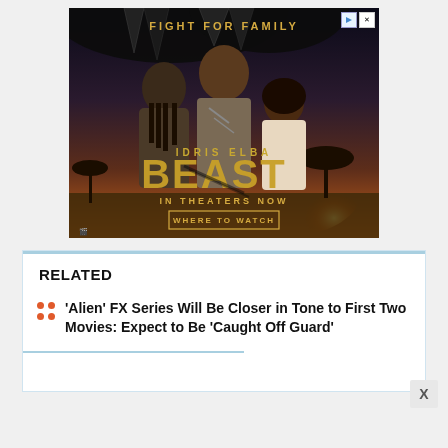[Figure (photo): Movie advertisement for 'Beast' starring Idris Elba. Shows three people (a man and two younger individuals) against a dramatic African savanna sunset backdrop with a large creature's teeth visible at the top. Text reads 'FIGHT FOR FAMILY', 'IDRIS ELBA', 'BEAST', 'IN THEATERS NOW', 'WHERE TO WATCH'.]
RELATED
'Alien' FX Series Will Be Closer in Tone to First Two Movies: Expect to Be 'Caught Off Guard'